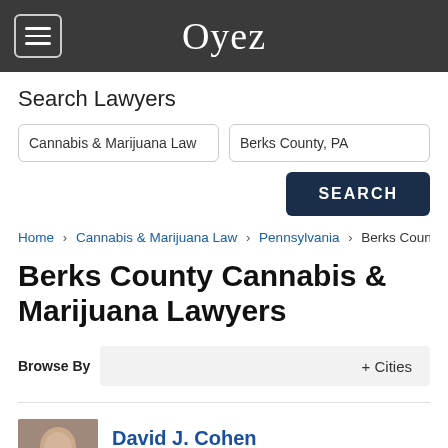Oyez
Search Lawyers
Cannabis & Marijuana Law | Berks County, PA
SEARCH
Home › Cannabis & Marijuana Law › Pennsylvania › Berks County
Berks County Cannabis & Marijuana Lawyers
Browse By   + Cities
David J. Cohen